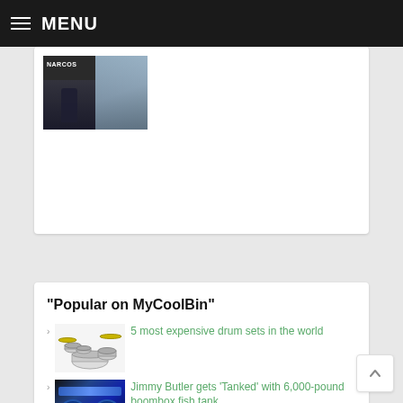MENU
[Figure (photo): Narcos TV show promotional image with two panels]
"Popular on MyCoolBin"
5 most expensive drum sets in the world
Jimmy Butler gets 'Tanked' with 6,000-pound boombox fish tank
Movember: Best beards in Rock/Metal, Hollywood and Football